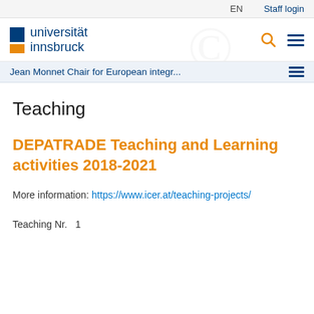EN  Staff login
[Figure (logo): Universität Innsbruck logo with blue and orange blocks and text]
Jean Monnet Chair for European integr...
Teaching
DEPATRADE Teaching and Learning activities 2018-2021
More information: https://www.icer.at/teaching-projects/
Teaching Nr.  1